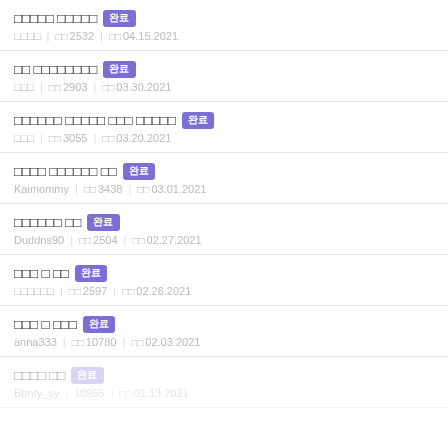□□□□□ □□□□□ 완료 □□□□ | □□ 2532 | □□ 04.15.2021
□□ □□□□□□□□ 완료 □□□ | □□ 2903 | □□ 03.30.2021
□□□□□□ □□□□□ □□□ □□□□□ 완료 □□□ | □□ 3055 | □□ 03.20.2021
□□□□ □□□□□□ □□ 완료 Kaimommy | □□ 3438 | □□ 03.01.2021
□□□□□□ □□ 완료 Duddns90 | □□ 2504 | □□ 02.27.2021
□□□ □ □□ 완료 □□□□□□ | □□ 2597 | □□ 02.26.2021
□□□ □ □□□ 완료 anna333 | □□ 10780 | □□ 02.03.2021
□□□□ □□ 완료 Bbnty_sy | 10955 | □□ 01.13.2021